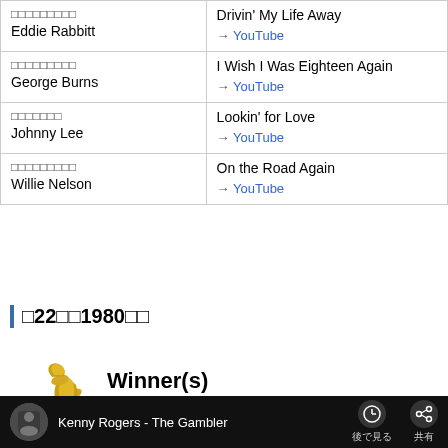| Artist | Song / Link |
| --- | --- |
| □□□□□□□□□
Eddie Rabbitt | Drivin' My Life Away
→ YouTube |
| □□□□□□□□□
George Burns | I Wish I Was Eighteen Again
→ YouTube |
| □□□□□□□
Johnny Lee | Lookin' for Love
→ YouTube |
| □□□□□□□□□
Willie Nelson | On the Road Again
→ YouTube |
第22回1980年度
[Figure (illustration): Grammy award trophy icon next to 'Winner(s)' heading]
[Figure (screenshot): YouTube video player bar showing 'Kenny Rogers - The Gambler' with watch later and share icons]